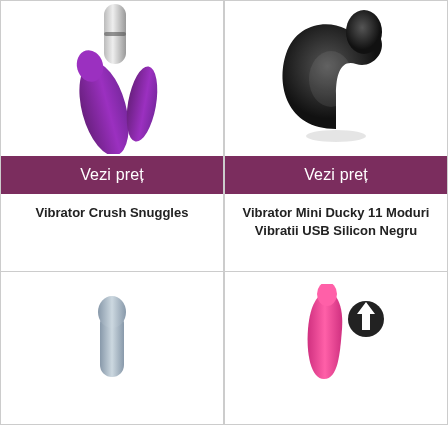[Figure (photo): Purple rabbit vibrator with silver handle - Vibrator Crush Snuggles]
Vezi preț
Vibrator Crush Snuggles
[Figure (photo): Black duck-shaped mini vibrator - Vibrator Mini Ducky 11 Moduri Vibratii USB Silicon Negru]
Vezi preț
Vibrator Mini Ducky 11 Moduri Vibratii USB Silicon Negru
[Figure (photo): Gray/blue small vibrator product]
[Figure (photo): Pink vibrator with black arrow-up icon overlay]